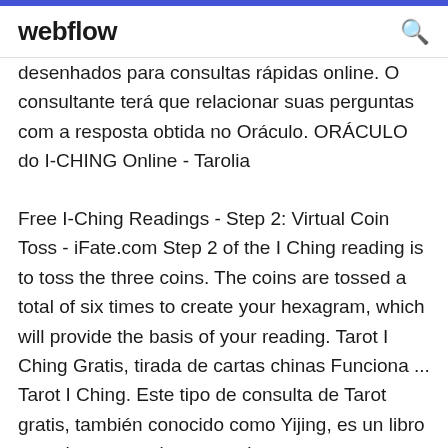webflow
desenhados para consultas rápidas online. O consultante terá que relacionar suas perguntas com a resposta obtida no Oráculo. ORÁCULO do I-CHING Online - Tarolia
Free I-Ching Readings - Step 2: Virtual Coin Toss - iFate.com Step 2 of the I Ching reading is to toss the three coins. The coins are tossed a total of six times to create your hexagram, which will provide the basis of your reading. Tarot I Ching Gratis, tirada de cartas chinas Funciona ... Tarot I Ching. Este tipo de consulta de Tarot gratis, también conocido como Yijing, es un libro oracular muy antiguo con el que, a